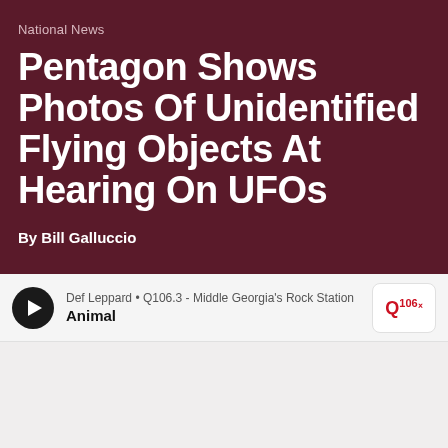National News
Pentagon Shows Photos Of Unidentified Flying Objects At Hearing On UFOs
By Bill Galluccio
[Figure (screenshot): Radio player bar showing Def Leppard - Animal playing on Q106.3 - Middle Georgia's Rock Station]
[Figure (photo): Content area below player bar, mostly blank/light gray]